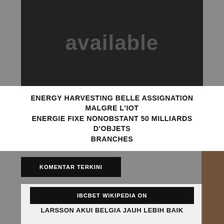[Figure (photo): Dark image with the word 'available' displayed in large gray text on a dark/black background]
ENERGY HARVESTING BELLE ASSIGNATION MALGRE L'IOT ENERGIE FIXE NONOBSTANT 50 MILLIARDS D'OBJETS BRANCHES
KOMENTAR TERKINI
IBCBET WIKIPEDIA ON
LARSSON AKUI BELGIA JAUH LEBIH BAIK